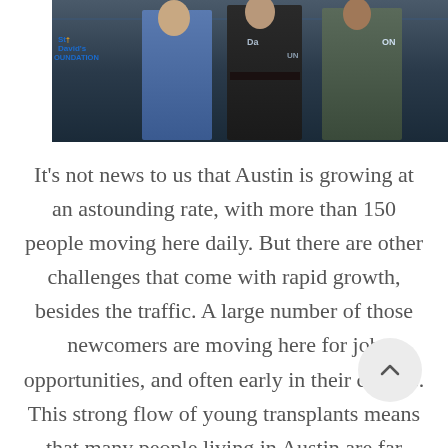[Figure (photo): Photo of people standing in front of St David's Foundation banner/backdrop, partially visible. Logo text visible on left reading St David's Foundation. Text on right partially visible reading ON.]
It's not news to us that Austin is growing at an astounding rate, with more than 150 people moving here daily. But there are other challenges that come with rapid growth, besides the traffic. A large number of those newcomers are moving here for job opportunities, and often early in their careers. This strong flow of young transplants means that many people living in Austin are far from their traditional support structures such as family and frien[ds. As] they start their own families in Austin, they're unlikely to have access to the helpful community they're used to leaning on.